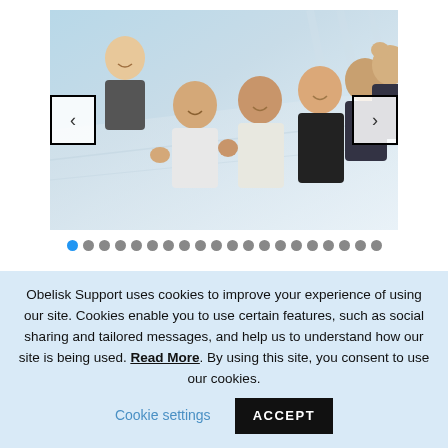[Figure (photo): Carousel image showing a group of young people giving thumbs up, viewed from a low angle, with navigation arrows on left and right sides]
• • • • • • • • • • • • • • • • • • • • (pagination dots, first dot is blue/active)
Obelisk Support uses cookies to improve your experience of using our site. Cookies enable you to use certain features, such as social sharing and tailored messages, and help us to understand how our site is being used. Read More. By using this site, you consent to use our cookies. Cookie settings ACCEPT